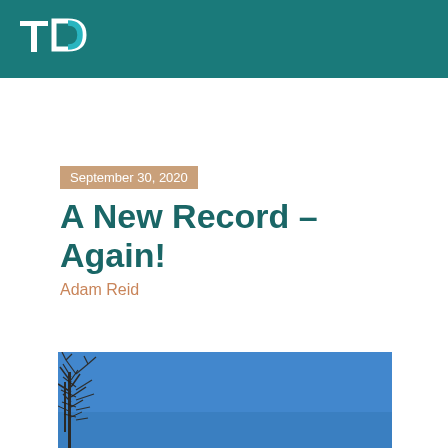TD logo
September 30, 2020
A New Record – Again!
Adam Reid
[Figure (photo): Photo of bare tree branches against a bright blue sky]